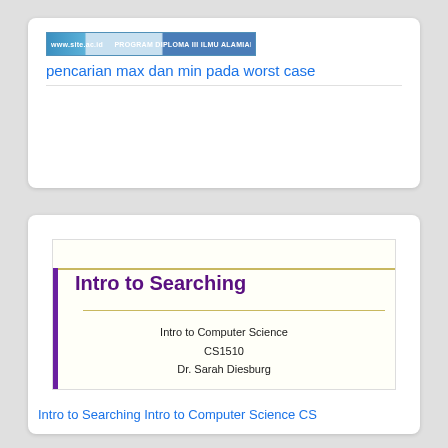[Figure (screenshot): Browser/website banner image showing a blue navigation bar with text]
pencarian max dan min pada worst case
[Figure (screenshot): Presentation slide with title 'Intro to Searching', subtitle text 'Intro to Computer Science CS1510 Dr. Sarah Diesburg', with purple left border and gold horizontal rules]
Intro to Searching Intro to Computer Science CS